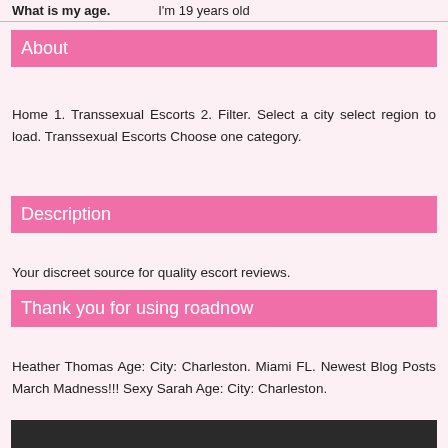What is my age.    I'm 19 years old
About
Home 1. Transsexual Escorts 2. Filter. Select a city select region to load. Transsexual Escorts Choose one category.
Description
Your discreet source for quality escort reviews.
Thank you for using roadnow
Heather Thomas Age: City: Charleston. Miami FL. Newest Blog Posts March Madness!!! Sexy Sarah Age: City: Charleston.